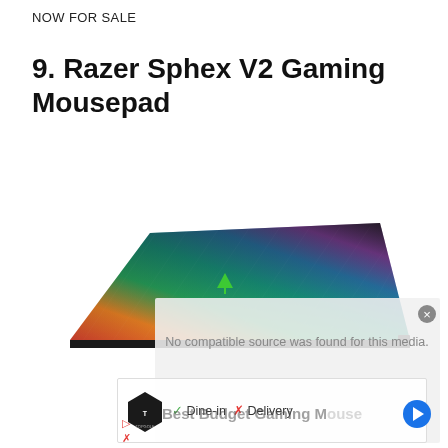NOW FOR SALE
9. Razer Sphex V2 Gaming Mousepad
[Figure (photo): Razer Sphex V2 Gaming Mousepad — a thin, rectangular mousepad with a rainbow/spectrum color gradient (red, orange, green, teal, blue, purple) on a black base surface, with diagonal line texture and a small green Razer logo in the center.]
No compatible source was found for this media.
Dine-in  ✓   ✗  Delivery
Best Budget Gaming Mouse